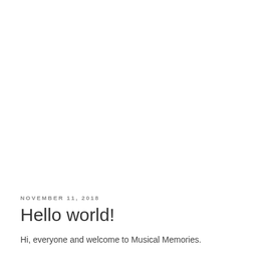NOVEMBER 11, 2018
Hello world!
Hi, everyone and welcome to Musical Memories.